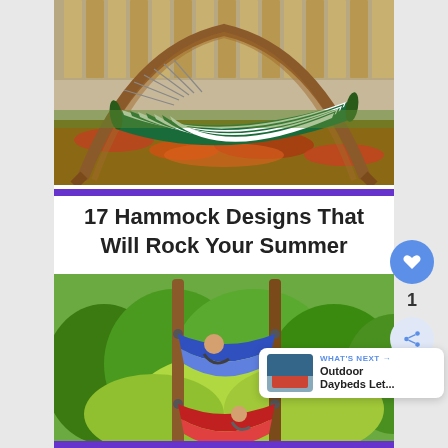[Figure (photo): A green and white striped hammock on a wooden arc stand, surrounded by autumn fallen leaves on grass, with a wooden fence in the background.]
17 Hammock Designs That Will Rock Your Summer
[Figure (photo): Two people relaxing in separate red and blue hammocks suspended between wooden poles, with lush green trees and shrubs in the background.]
WHAT'S NEXT → Outdoor Daybeds Let...